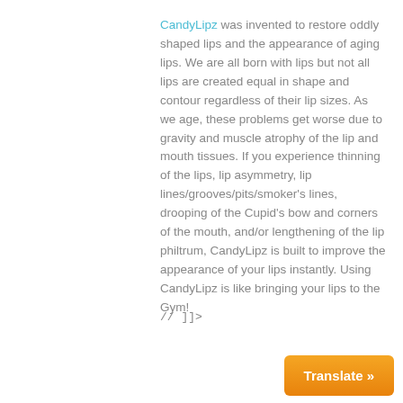CandyLipz was invented to restore oddly shaped lips and the appearance of aging lips. We are all born with lips but not all lips are created equal in shape and contour regardless of their lip sizes. As we age, these problems get worse due to gravity and muscle atrophy of the lip and mouth tissues. If you experience thinning of the lips, lip asymmetry, lip lines/grooves/pits/smoker's lines, drooping of the Cupid's bow and corners of the mouth, and/or lengthening of the lip philtrum, CandyLipz is built to improve the appearance of your lips instantly. Using CandyLipz is like bringing your lips to the Gym!
// ]]>